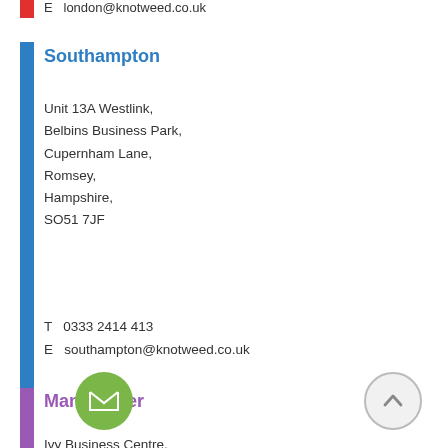E   london@knotweed.co.uk
Southampton
Unit 13A Westlink,
Belbins Business Park,
Cupernham Lane,
Romsey,
Hampshire,
SO51 7JF
T   0333 2414 413
E   southampton@knotweed.co.uk
Manchester
Ivy Business Centre,
Crown Street
Failsworth, Manchester
M35 9BG
This site uses cookies to store information on your computer.
Some of these cookies are essential to make our site work and others help us to improve by giving us some insight into how the site is being used. Learn more
Close